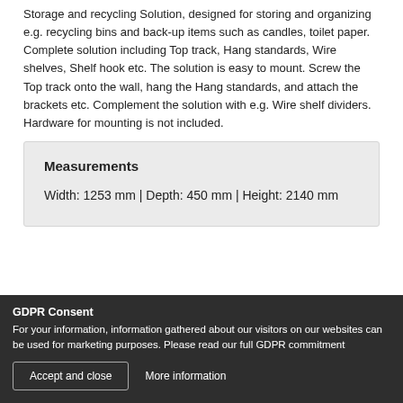Storage and recycling Solution, designed for storing and organizing e.g. recycling bins and back-up items such as candles, toilet paper. Complete solution including Top track, Hang standards, Wire shelves, Shelf hook etc. The solution is easy to mount. Screw the Top track onto the wall, hang the Hang standards, and attach the brackets etc. Complement the solution with e.g. Wire shelf dividers. Hardware for mounting is not included.
Measurements
Width: 1253 mm | Depth: 450 mm | Height: 2140 mm
GDPR Consent
For your information, information gathered about our visitors on our websites can be used for marketing purposes. Please read our full GDPR commitment
Accept and close
More information